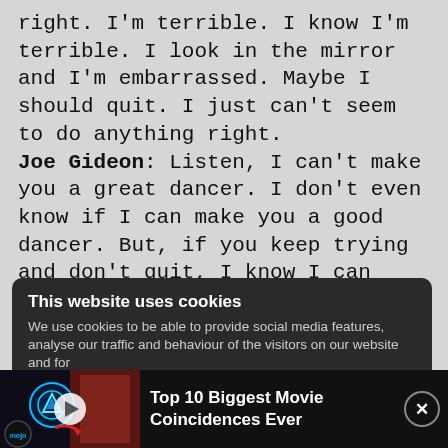right. I'm terrible. I know I'm terrible. I look in the mirror and I'm embarrassed. Maybe I should quit. I just can't seem to do anything right. Joe Gideon: Listen, I can't make you a great dancer. I don't even know if I can make you a good dancer. But, if you keep trying and don't quit, I know I can make you a better dancer. I'd like very much to do that. Stay? Victoria Porter: Are you going to keep yelling at me?
[Figure (screenshot): Cookie consent banner on dark background reading 'This website uses cookies' with accompanying text about social media features and traffic analysis]
[Figure (screenshot): WatchMojo video bar at bottom showing Iron Man thumbnail with play button, mojo logo badge, and title 'Top 10 Biggest Movie Coincidences Ever' with close button]